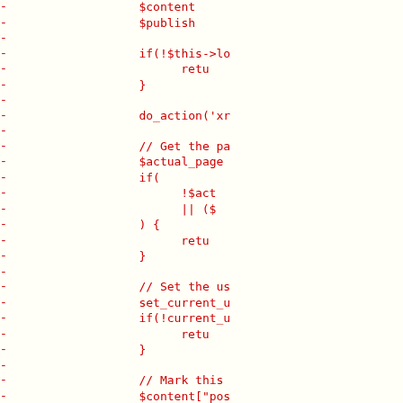[Figure (screenshot): Code diff snippet showing removed lines (prefixed with '-') in red monospace font on a light yellow background. Lines show PHP code including $content, $publish, if(!$this->lo, return, }, do_action('xr, // Get the pa, $actual_page, if(, !$act, || ($, ) {, return, }, // Set the us, set_current_u, if(!current_u, return, }, // Mark this, $content["pos, // Arrange a, $args = array, $page, $user, $pass, $cont]